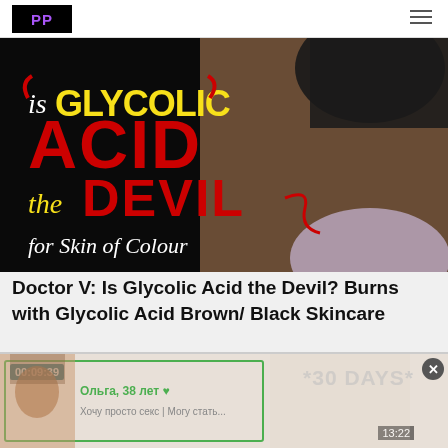PP
[Figure (screenshot): YouTube thumbnail: 'is GLYCOLIC ACID the DEVIL for Skin of Colour' — text overlaid on dark background with a woman touching her face on the right side. Text in yellow, red, and white on black background.]
Doctor V: Is Glycolic Acid the Devil? Burns with Glycolic Acid Brown/ Black Skincare
[Figure (screenshot): Ad banner at bottom showing a video ad with timestamp 00:09:39, green border overlay, Cyrillic text 'Ольга, 38 лет' and 'Хочу просто секс | Могу стать...', overlapping text '*30 DAYS*' and time '13:22' on right side.]